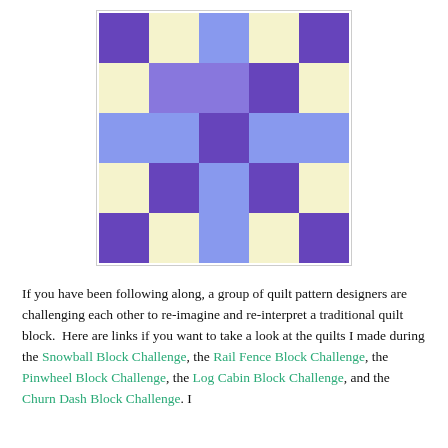[Figure (illustration): A 5x5 quilt block pattern with purple, periwinkle/blue, and cream/yellow squares arranged in a symmetric checkerboard-like design.]
If you have been following along, a group of quilt pattern designers are challenging each other to re-imagine and re-interpret a traditional quilt block.  Here are links if you want to take a look at the quilts I made during the Snowball Block Challenge, the Rail Fence Block Challenge, the Pinwheel Block Challenge, the Log Cabin Block Challenge, and the Churn Dash Block Challenge. I